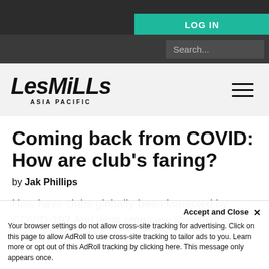LOGIN
Search...
[Figure (logo): Les Mills Asia Pacific logo in bold italic black text]
Coming back from COVID: How are club's faring?
by Jak Phillips
How have clubs globally been impacted by COVID-19? And what steps are they taking to fight back to full fitness?
Accept and Close ×
Your browser settings do not allow cross-site tracking for advertising. Click on this page to allow AdRoll to use cross-site tracking to tailor ads to you. Learn more or opt out of this AdRoll tracking by clicking here. This message only appears once.